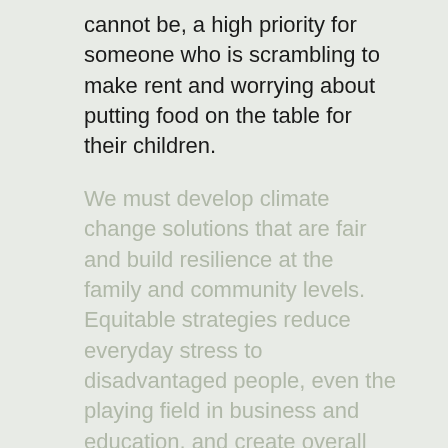cannot be, a high priority for someone who is scrambling to make rent and worrying about putting food on the table for their children.
We must develop climate change solutions that are fair and build resilience at the family and community levels. Equitable strategies reduce everyday stress to disadvantaged people, even the playing field in business and education, and create overall community resilience.
Our ClimateWise team is working to integrate equity as a foundation of our Whole Community Adaptation framework by working with partner organizations to assess vulnerabilities and proposed climate change solutions through an equity lens. The Rogue Valley of Southern Oregon is once again serving as our experimental grounds for testing climate change solutions, and this project will inform future projects in